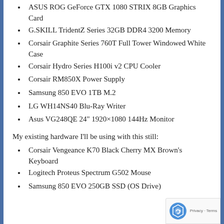ASUS ROG GeForce GTX 1080 STRIX 8GB Graphics Card
G.SKILL TridentZ Series 32GB DDR4 3200 Memory
Corsair Graphite Series 760T Full Tower Windowed White Case
Corsair Hydro Series H100i v2 CPU Cooler
Corsair RM850X Power Supply
Samsung 850 EVO 1TB M.2
LG WH14NS40 Blu-Ray Writer
Asus VG248QE 24" 1920×1080 144Hz Monitor
My existing hardware I'll be using with this still:
Corsair Vengeance K70 Black Cherry MX Brown's Keyboard
Logitech Proteus Spectrum G502 Mouse
Samsung 850 EVO 250GB SSD (OS Drive)